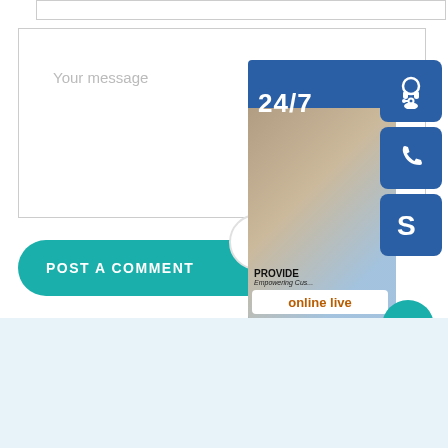Your message
POST A COMMENT →
[Figure (infographic): 24/7 customer support chat widget with a woman wearing a headset, showing headset, phone, and Skype icons on a blue background with 'PROVIDE Empowering Customers' text and 'online live' button]
[Figure (infographic): Teal circular scroll-to-top button with upward arrow]
Category
structural steel st37 h beam export